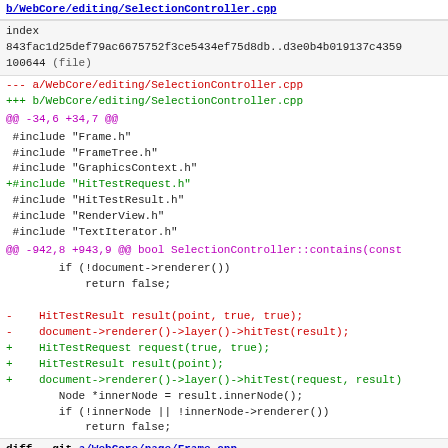b/WebCore/editing/SelectionController.cpp (link)
index
843fac1d25def79ac6675752f3ce5434ef75d8db..d3e0b4b019137c4359
100644 (file)
--- a/WebCore/editing/SelectionController.cpp
+++ b/WebCore/editing/SelectionController.cpp
@@ -34,6 +34,7 @@
#include "Frame.h"
 #include "FrameTree.h"
 #include "GraphicsContext.h"
+#include "HitTestRequest.h"
 #include "HitTestResult.h"
 #include "RenderView.h"
 #include "TextIterator.h"
@@ -942,8 +943,9 @@ bool SelectionController::contains(const
if (!document->renderer())
            return false;

-    HitTestResult result(point, true, true);
-    document->renderer()->layer()->hitTest(result);
+    HitTestRequest request(true, true);
+    HitTestResult result(point);
+    document->renderer()->layer()->hitTest(request, result)
        Node *innerNode = result.innerNode();
        if (!innerNode || !innerNode->renderer())
            return false;
diff --git a/WebCore/page/Frame.cpp b/WebCore/page/Frame.cpp
index
b7cd0c33ffbd498aa468bb010360cf0517dcb871..b541ac028ab37c52bd
100644 (file)